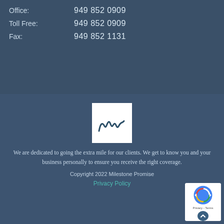Office: 949 852 0909
Toll Free: 949 852 0909
Fax: 949 852 1131
[Figure (logo): Milestone Promise logo — white square with a dark teal cursive 'm' signature mark]
We are dedicated to going the extra mile for our clients. We get to know you and your business personally to ensure you receive the right coverage.
Copyright 2022 Milestone Promise
Privacy Policy